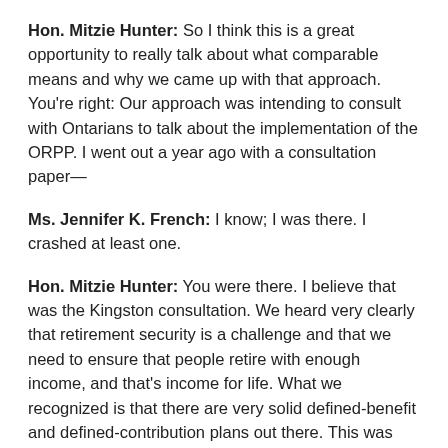Hon. Mitzie Hunter: So I think this is a great opportunity to really talk about what comparable means and why we came up with that approach. You're right: Our approach was intending to consult with Ontarians to talk about the implementation of the ORPP. I went out a year ago with a consultation paper—
Ms. Jennifer K. French: I know; I was there. I crashed at least one.
Hon. Mitzie Hunter: You were there. I believe that was the Kingston consultation. We heard very clearly that retirement security is a challenge and that we need to ensure that people retire with enough income, and that's income for life. What we recognized is that there are very solid defined-benefit and defined-contribution plans out there. This was done through analysis, and through talking with those employers and employees as well, in terms of the value of those plans.